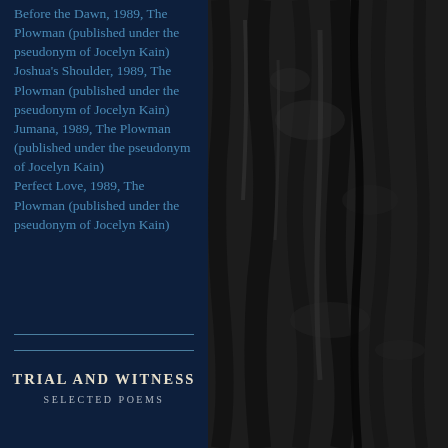Before the Dawn, 1989, The Plowman (published under the pseudonym of Jocelyn Kain)
Joshua's Shoulder, 1989, The Plowman (published under the pseudonym of Jocelyn Kain)
Jumana, 1989, The Plowman (published under the pseudonym of Jocelyn Kain)
Perfect Love, 1989, The Plowman (published under the pseudonym of Jocelyn Kain)
[Figure (photo): Dark bark/wood texture photograph in black and white, occupying the right portion of the page]
TRIAL AND WITNESS
SELECTED POEMS